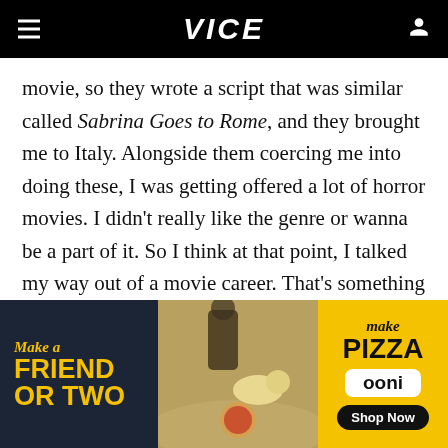VICE
movie, so they wrote a script that was similar called Sabrina Goes to Rome, and they brought me to Italy. Alongside them coercing me into doing these, I was getting offered a lot of horror movies. I didn't really like the genre or wanna be a part of it. So I think at that point, I talked my way out of a movie career. That's something I'd go back and adjust.
[Figure (infographic): Advertisement banner for Ooni pizza oven with dark left panel reading 'Make a FRIEND OR TWO' in yellow text, center photo of people and dogs at a picnic with pizza, and yellow right panel with 'Make Pizza', 'ooni', and 'Shop Now' button]